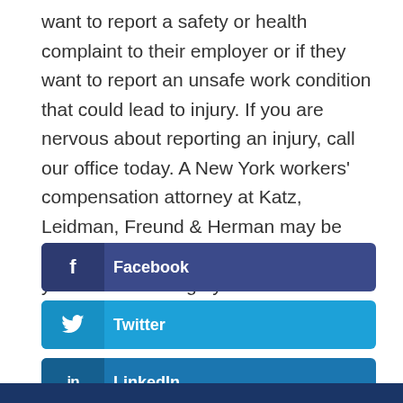want to report a safety or health complaint to their employer or if they want to report an unsafe work condition that could lead to injury. If you are nervous about reporting an injury, call our office today. A New York workers' compensation attorney at Katz, Leidman, Freund & Herman may be able to assist you in your case and help you to work through your case!
Facebook
Twitter
LinkedIn